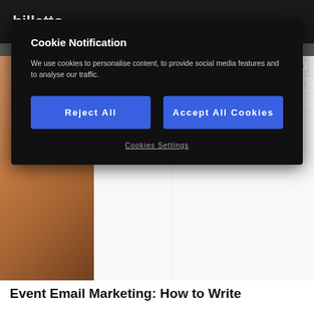bjlletto.
Cookie Notification
We use cookies to personalise content, to provide social media features and to analyse our traffic.
Reject All
Accept All Cookies
Cookies Settings
[Figure (screenshot): Gmail inbox screenshot showing Compose button, Inbox, Starred, Snoozed items and Primary tab, partially visible behind cookie overlay]
Event Email Marketing: How to Write